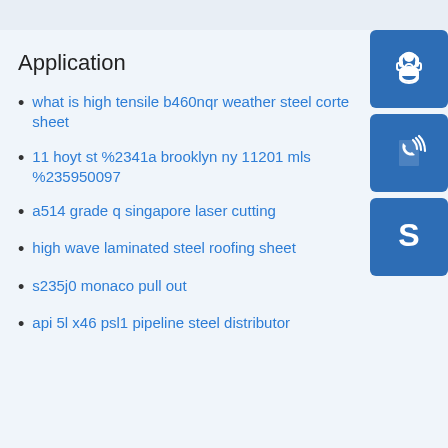Application
what is high tensile b460nqr weather steel corte sheet
11 hoyt st %2341a brooklyn ny 11201 mls %235950097
a514 grade q singapore laser cutting
high wave laminated steel roofing sheet
s235j0 monaco pull out
api 5l x46 psl1 pipeline steel distributor
[Figure (illustration): Blue square icon with white headset/customer support symbol]
[Figure (illustration): Blue square icon with white phone/call symbol with signal waves]
[Figure (illustration): Blue square icon with white Skype logo symbol]